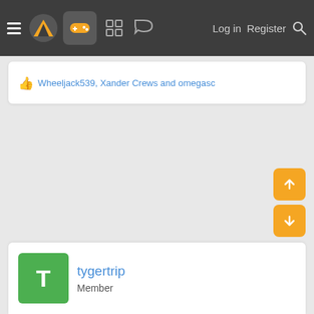Navigation bar with logo, gamepad icon, forum icons, Log in, Register, Search
👍 Wheeljack539, Xander Crews and omegasc
tygertrip
Member